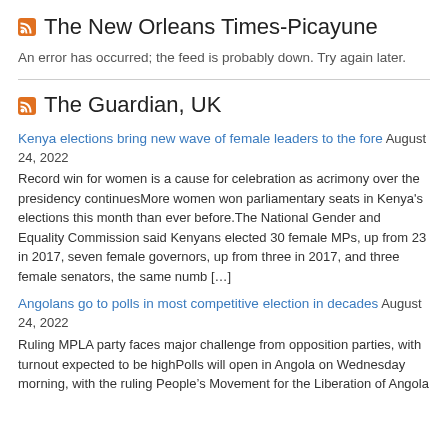The New Orleans Times-Picayune
An error has occurred; the feed is probably down. Try again later.
The Guardian, UK
Kenya elections bring new wave of female leaders to the fore August 24, 2022
Record win for women is a cause for celebration as acrimony over the presidency continuesMore women won parliamentary seats in Kenya's elections this month than ever before.The National Gender and Equality Commission said Kenyans elected 30 female MPs, up from 23 in 2017, seven female governors, up from three in 2017, and three female senators, the same numb [...]
Angolans go to polls in most competitive election in decades August 24, 2022
Ruling MPLA party faces major challenge from opposition parties, with turnout expected to be highPolls will open in Angola on Wednesday morning, with the ruling People's Movement for the Liberation of Angola